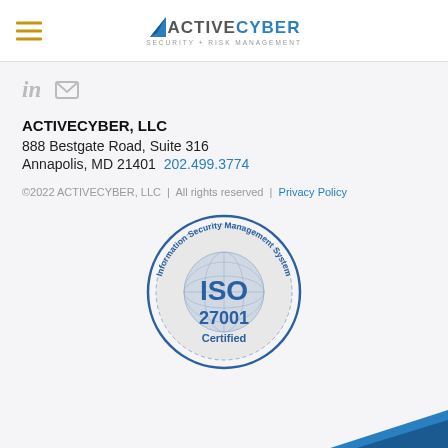ACTIVECYBER — Security + Risk Management logo header with hamburger menu
[Figure (logo): LinkedIn and email social icons]
ACTIVECYBER, LLC
888 Bestgate Road, Suite 316
Annapolis, MD 21401  202.499.3774
©2022 ACTIVECYBER, LLC  |  All rights reserved  |  Privacy Policy
[Figure (logo): ISO 27001 Certified — Information Security Management System circular badge]
[Figure (logo): ActiveCyber logo bottom partial (blue swoosh/chevron)]